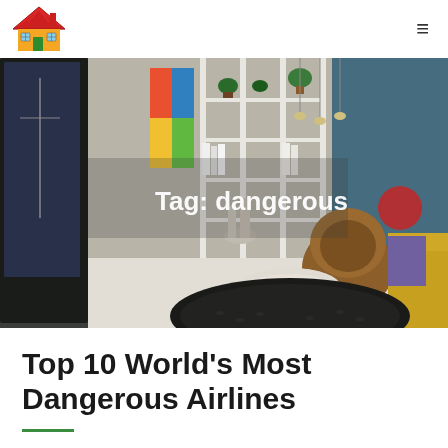Home logo | Hamburger menu
[Figure (photo): Interior room photo showing a modern apartment with white open shelving, colorful artwork, marble tulip table, brown egg chair, yellow sofa, and pendant lights. Tag overlay reads 'Tag: dangerous'.]
Top 10 World's Most Dangerous Airlines